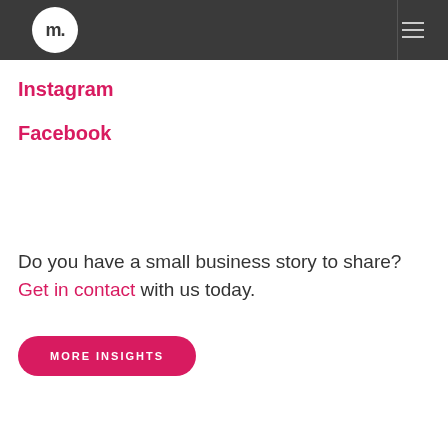m. [logo]
Instagram
Facebook
Do you have a small business story to share? Get in contact with us today.
MORE INSIGHTS